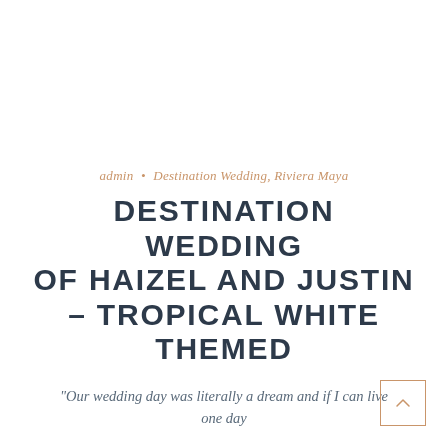admin  •  Destination Wedding, Riviera Maya
DESTINATION WEDDING OF HAIZEL AND JUSTIN – TROPICAL WHITE THEMED
"Our wedding day was literally a dream and if I can live one day
Read More